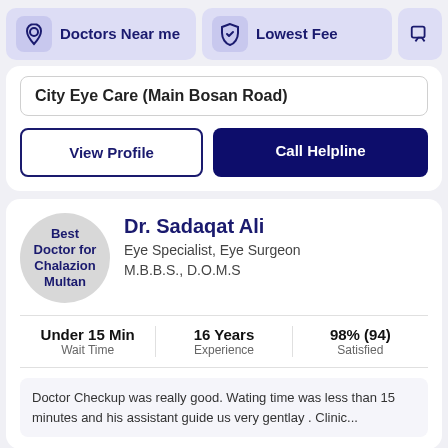[Figure (screenshot): Top navigation bar with 'Doctors Near me' button (location icon), 'Lowest Fee' button (shield icon), and a third partially visible button]
City Eye Care (Main Bosan Road)
View Profile
Call Helpline
Dr. Sadaqat Ali
Eye Specialist, Eye Surgeon
M.B.B.S., D.O.M.S
Under 15 Min
Wait Time
16 Years
Experience
98% (94)
Satisfied
Doctor Checkup was really good. Wating time was less than 15 minutes and his assistant guide us very gentlay . Clinic...